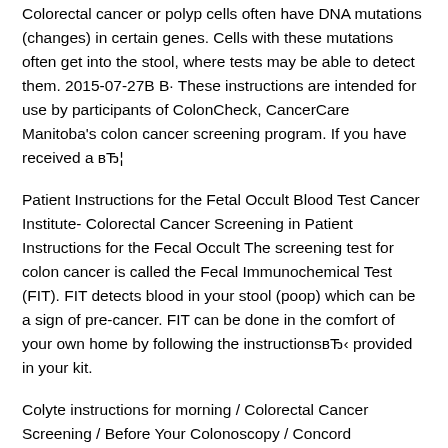Colorectal cancer or polyp cells often have DNA mutations (changes) in certain genes. Cells with these mutations often get into the stool, where tests may be able to detect them. 2015-07-27В В· These instructions are intended for use by participants of ColonCheck, CancerCare Manitoba's colon cancer screening program. If you have received a вЂ¦
Patient Instructions for the Fetal Occult Blood Test Cancer Institute- Colorectal Cancer Screening in Patient Instructions for the Fecal Occult The screening test for colon cancer is called the Fecal Immunochemical Test (FIT). FIT detects blood in your stool (poop) which can be a sign of pre-cancer. FIT can be done in the comfort of your own home by following the instructionsвЂ‹ provided in your kit.
Colyte instructions for morning / Colorectal Cancer Screening / Before Your Colonoscopy / Concord Preparation Instructions / Colyte Prep for Morning This information will teach you how